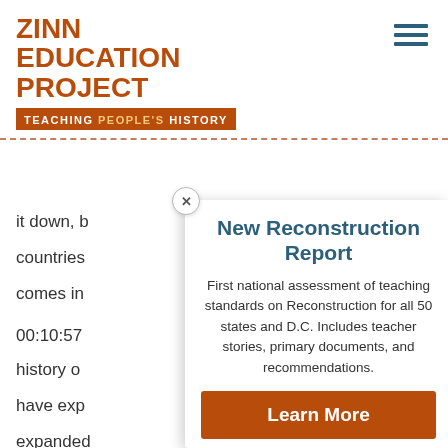ZINN EDUCATION PROJECT
TEACHING PEOPLE'S HISTORY
it down, b...
countries...
comes in...
00:10:57
history o...
have exp...
expanded...
along the...
the conti...
school it...
New Reconstruction Report
First national assessment of teaching standards on Reconstruction for all 50 states and D.C. Includes teacher stories, primary documents, and recommendations.
Learn More